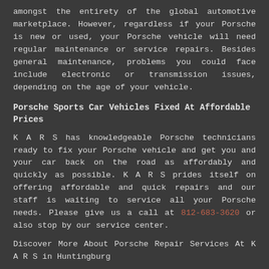amongst the entirety of the global automotive marketplace. However, regardless if your Porsche is new or used, your Porsche vehicle will need regular maintenance or service repairs. Besides general maintenance, problems you could face include electronic or transmission issues, depending on the age of your vehicle.
Porsche Sports Car Vehicles Fixed At Affordable Prices
K A R S has knowledgeable Porsche technicians ready to fix your Porsche vehicle and get you and your car back on the road as affordably and quickly as possible. K A R S prides itself on offering affordable and quick repairs and our staff is waiting to service all your Porsche needs. Please give us a call at 812-683-3620 or also stop by our service center.
Discover More About Porsche Repair Services At K A R S in Huntingburg
Mitsubishi Repairs